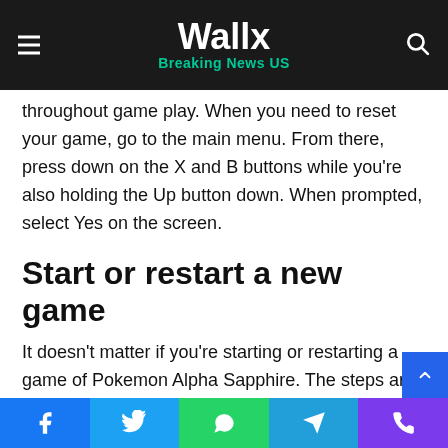Wallx — Breaking News US
throughout game play. When you need to reset your game, go to the main menu. From there, press down on the X and B buttons while you're also holding the Up button down. When prompted, select Yes on the screen.
Start or restart a new game
It doesn't matter if you're starting or restarting a game of Pokemon Alpha Sapphire. The steps are the same. After pressing Up, along with X and B, you'll choose a new character and create a profile. Afterward, you're ready to play a new game at the starting point.
Social share buttons: Facebook, Twitter, WhatsApp, Telegram, Phone